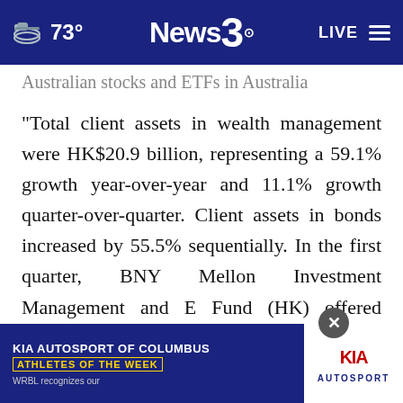73° News3 LIVE
Australian stocks and ETFs in Australia
“Total client assets in wealth management were HK$20.9 billion, representing a 59.1% growth year-over-year and 11.1% growth quarter-over-quarter. Client assets in bonds increased by 55.5% sequentially. In the first quarter, BNY Mellon Investment Management and E Fund (HK) offered model portfolio services on our platform to provide diversified asset allocation solutions. Meanwhile, we continued to expand our money market fund
KIA AUTOSPORT OF COLUMBUS ATHLETES OF THE WEEK WRBL recognizes our